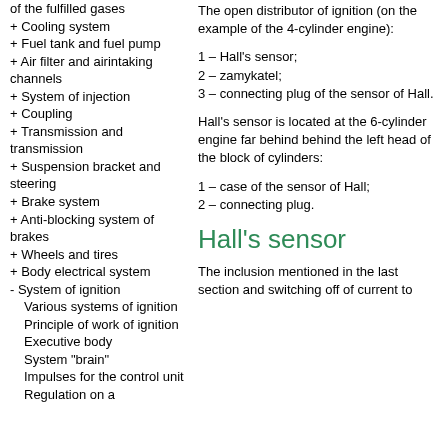of the fulfilled gases
+ Cooling system
+ Fuel tank and fuel pump
+ Air filter and airintaking channels
+ System of injection
+ Coupling
+ Transmission and transmission
+ Suspension bracket and steering
+ Brake system
+ Anti-blocking system of brakes
+ Wheels and tires
+ Body electrical system
- System of ignition
Various systems of ignition
Principle of work of ignition
Executive body
System "brain"
Impulses for the control unit
Regulation on a
The open distributor of ignition (on the example of the 4-cylinder engine):
1 – Hall's sensor;
2 – zamykatel;
3 – connecting plug of the sensor of Hall.
Hall's sensor is located at the 6-cylinder engine far behind behind the left head of the block of cylinders:
1 – case of the sensor of Hall;
2 – connecting plug.
Hall's sensor
The inclusion mentioned in the last section and switching off of current to